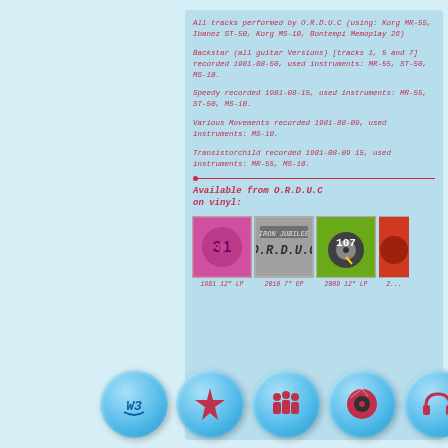All tracks performed by O.R.D.U.C (using: Korg MR-55, Ibanez ST-50, Korg MS-10, Bontempi Memoplay 26)
Backstar (all guitar Versions) [tracks 1, 5 and 7] recorded 1981-08-50, used instruments: MR-55, ST-50, MS-10.
Speedy recorded 1981-08-15, used instruments: MR-55, ST-50, MS-10.
Various Movements recorded 1981-08-09, used instruments: MS-10.
Transistorchild recorded 1981-08-09 15, used instruments: MR-55, MS-10.
Available from O.R.D.U.C on vinyl:
[Figure (photo): Four vinyl album covers in a row: pink LP, gray 7" EP, green 12" LP, and a partially visible red/orange release. Labels: 1981 12" LP, 2010 7" EP, 2009 12" LP, 2...]
[Figure (infographic): Navigation bar with five round blue glossy buttons containing icons: headphones with cable logo, starburst, three people, vinyl disc, headphones.]